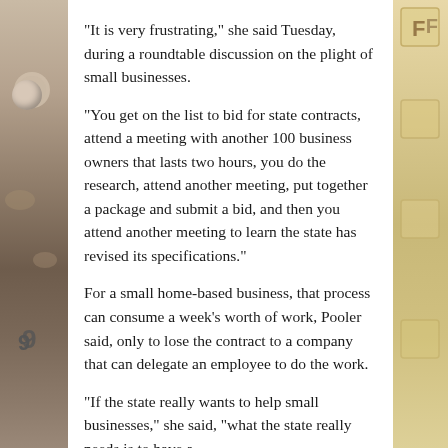[Figure (photo): Left side decorative photo strip showing blurred office/business items with a circular object visible]
[Figure (photo): Right side decorative photo strip showing blurred scrabble-like letter tiles in beige/tan tones with letter F visible]
“It is very frustrating,” she said Tuesday, during a roundtable discussion on the plight of small businesses.
“You get on the list to bid for state contracts, attend a meeting with another 100 business owners that lasts two hours, you do the research, attend another meeting, put together a package and submit a bid, and then you attend another meeting to learn the state has revised its specifications.”
For a small home-based business, that process can consume a week’s worth of work, Pooler said, only to lose the contract to a company that can delegate an employee to do the work.
“If the state really wants to help small businesses,” she said, “what the state really needs is to have a [continuation implied]